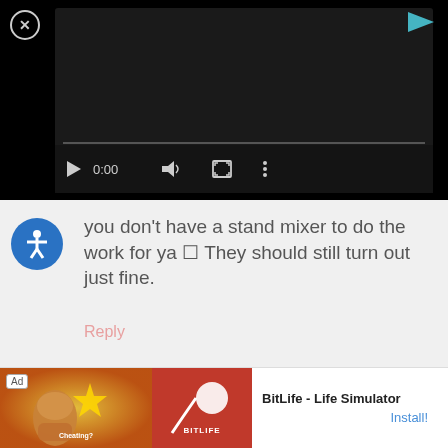[Figure (screenshot): Video player ad with black background, close button (X in circle) top left, play ad button top right (triangle arrow), video controls bar showing play button, 0:00 timestamp, volume icon, fullscreen icon, more options icon, and progress bar]
you don’t have a stand mixer to do the work for ya □ They should still turn out just fine.
Reply
[Figure (screenshot): Ad banner for BitLife - Life Simulator app with Ad label, colorful image with muscle arm and gaming art on left, red panel with BitLife logo sperm icon, app name BitLife - Life Simulator and Install button]